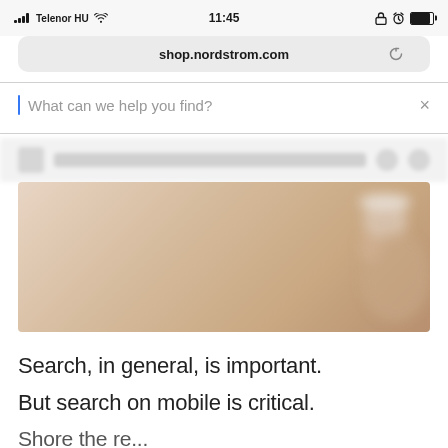[Figure (screenshot): Mobile browser screenshot showing shop.nordstrom.com with a search bar reading 'What can we help you find?' with a blue cursor, a blurred navigation bar below, and a product image banner with a blurred person wearing a white hat on a beige background.]
Search, in general, is important.
But search on mobile is critical.
Shore the re...